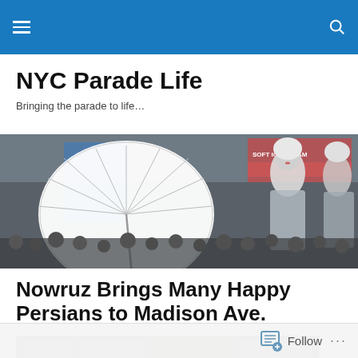Navigation bar with hamburger menu and search icon
NYC Parade Life
Bringing the parade to life…
[Figure (photo): A parade scene with women in 18th-century style white wigs and costumes carrying white parasols, with crowds in the background and a soft ice cream store sign visible]
Nowruz Brings Many Happy Persians to Madison Ave.
[Figure (photo): Bottom partial thumbnail of a parade photo]
Follow …